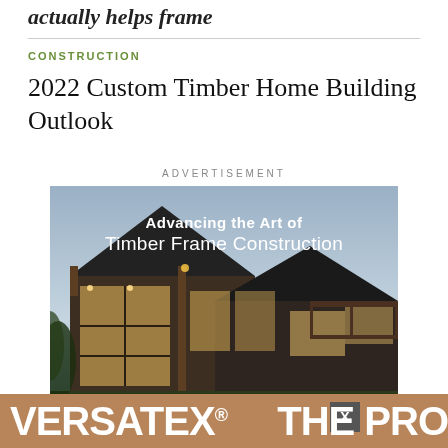actually helps frame
CONSTRUCTION
2022 Custom Timber Home Building Outlook
ADVERTISEMENT
[Figure (photo): Advertisement banner for timber frame construction company, showing a large custom timber frame home at dusk with text 'Advancing the Art of Timber Frame Construction']
[Figure (photo): VERSATEX advertisement banner at bottom with 'THE PRO' text visible, brown/copper colored background with white text and a close button (X)]